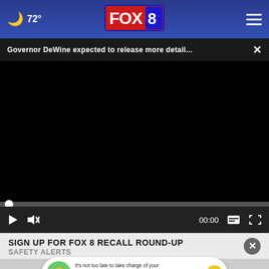🌙 72° FOX 8
Governor DeWine expected to release more detail...
[Figure (screenshot): Black video player area showing a paused/unloaded video with progress bar at 00:00, play button, mute button, caption button, and fullscreen button]
SIGN UP FOR FOX 8 RECALL ROUND-UP SAFETY ALERTS
[Figure (advertisement): AARP advertisement banner with green mascot character: 'It's not too late to take charge of your retirement. Get your top 3 tips' with Ad Council and AARP logos]